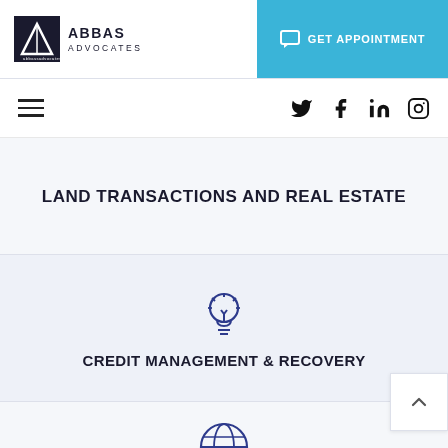[Figure (logo): Abbas Advocates logo with triangle icon and text ABBAS ADVOCATES]
[Figure (other): GET APPOINTMENT button with chat icon on blue background]
[Figure (other): Navigation bar with hamburger menu and social media icons: Twitter, Facebook, LinkedIn, Instagram]
LAND TRANSACTIONS AND REAL ESTATE
[Figure (illustration): Light bulb icon in blue outline style]
CREDIT MANAGEMENT & RECOVERY
[Figure (illustration): Globe/world icon in blue outline style, partially visible at bottom]